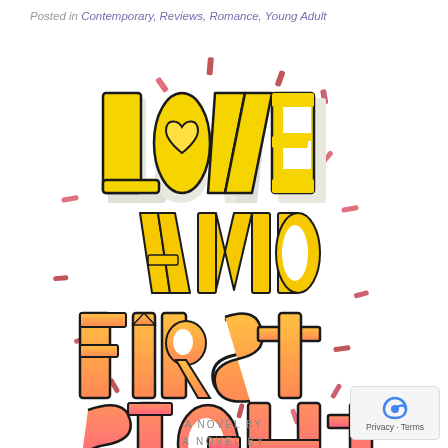Posted in Contemporary, Reviews, Romance, Young Adult
[Figure (illustration): Book cover illustration for 'Love and First Sight' - a novel with large colorful 3D block letters. 'LOVE' in yellow with a heart replacing the O, 'AND' in yellow, 'F1RST' in orange-yellow gradient, 'SIGHT' in pink-orange gradient. Confetti/sprinkle dashes scatter around the text. Bottom reads 'A NOVEL BY'.]
A NOVEL BY